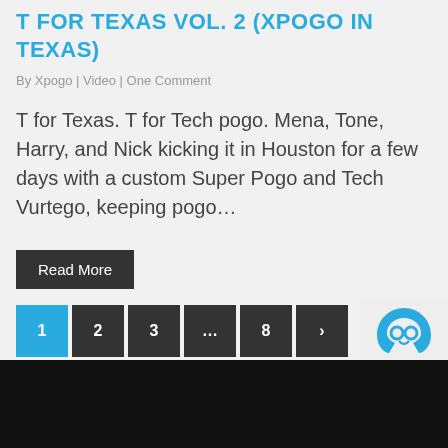T FOR TEXAS VOL. 2 (XPOGO IN TEXAS)
By Xpogo | Video | One Comment
T for Texas. T for Tech pogo. Mena, Tone, Harry, and Nick kicking it in Houston for a few days with a custom Super Pogo and Tech Vurtego, keeping pogo…
Read More
1 2 3 … 8 >